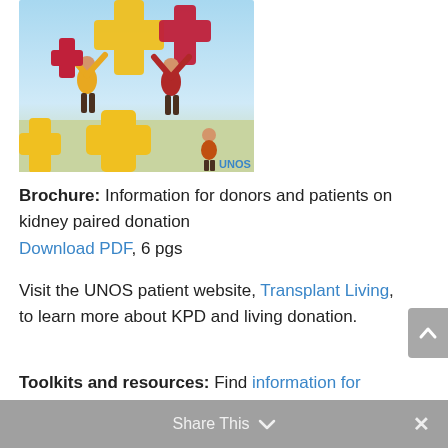[Figure (illustration): Illustration showing people holding large red and yellow cross/plus puzzle pieces with UNOS branding, representing kidney paired donation]
Brochure: Information for donors and patients on kidney paired donation Download PDF, 6 pgs
Visit the UNOS patient website, Transplant Living, to learn more about KPD and living donation.
Toolkits and resources: Find information for transplant professionals and patients
Share This  ×